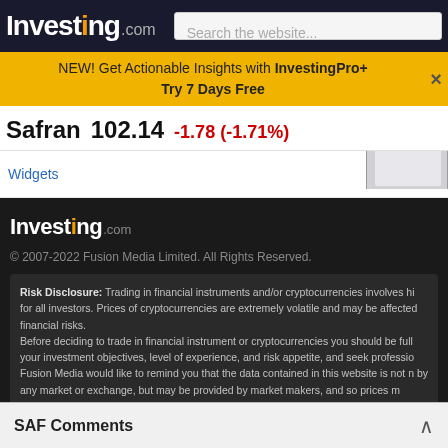Investing.com | Search the website...
NEW! Get Actionable Insights with InvestingPro+ Try 7 Days Free
Safran 102.14 -1.78 (-1.71%)
Widgets
[Figure (screenshot): Mobile phone device image cropped at top right]
[Figure (logo): Investing.com footer logo]
© 2007-2022 Fusion Media Limited. All Rights Reserved.
Risk Disclosure: Trading in financial instruments and/or cryptocurrencies involves hi for all investors. Prices of cryptocurrencies are extremely volatile and may be affected financial risks. Before deciding to trade in financial instrument or cryptocurrencies you should be full your investment objectives, level of experience, and risk appetite, and seek professio Fusion Media would like to remind you that the data contained in this website is not n by any market or exchange, but may be provided by market makers, and so prices m indicative and not appropriate for trading purposes. Fusion Media and any provider of trading, or your reliance on the information contained within this website. It is prohibited to use, store, reproduce, display, modify, transmit or distribute the data data provider. All intellectual property rights are reserved by the providers and/or the a Fusion Media may be compensated by the advertisers that appear on the website, ba
SAF Comments